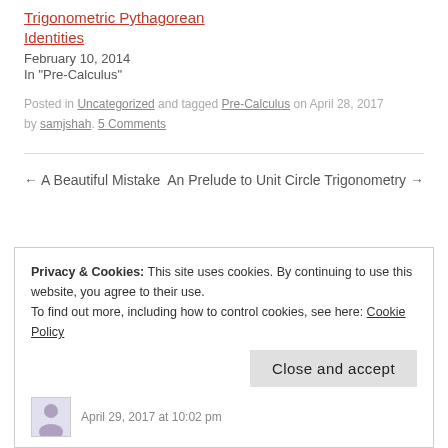Trigonometric Pythagorean Identities
February 10, 2014
In "Pre-Calculus"
Posted in Uncategorized and tagged Pre-Calculus on April 28, 2017 by samjshah. 5 Comments
← A Beautiful Mistake
An Prelude to Unit Circle Trigonometry →
Privacy & Cookies: This site uses cookies. By continuing to use this website, you agree to their use. To find out more, including how to control cookies, see here: Cookie Policy
Close and accept
April 29, 2017 at 10:02 pm